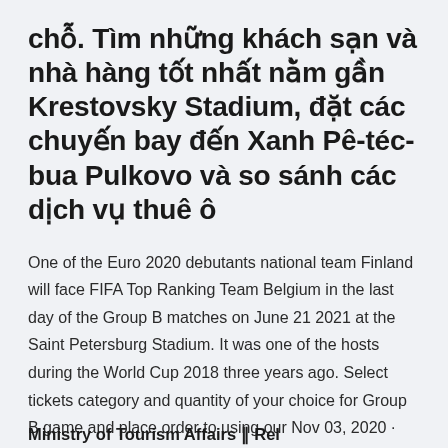chỗ. Tìm những khách sạn và nhà hàng tốt nhất nằm gần Krestovsky Stadium, đặt các chuyến bay đến Xanh Pê-téc-bua Pulkovo và so sánh các dịch vụ thuê ô
One of the Euro 2020 debutants national team Finland will face FIFA Top Ranking Team Belgium in the last day of the Group B matches on June 21 2021 at the Saint Petersburg Stadium. It was one of the hosts during the World Cup 2018 three years ago. Select tickets category and quantity of your choice for Group B game and place order to using our Nov 03, 2020 · Match Info, Statics and Live score for Finland vs Belgium.
Ministry of Tourism Affairs ‖ Rel...